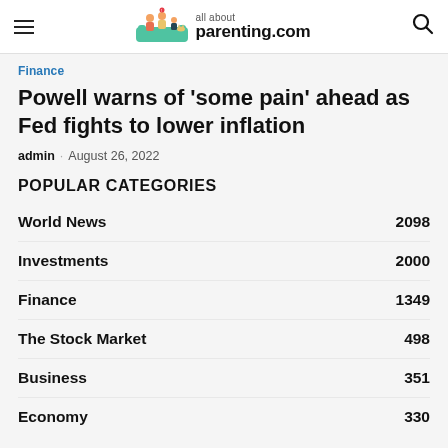all about parenting.com
Finance
Powell warns of ‘some pain’ ahead as Fed fights to lower inflation
admin · August 26, 2022
POPULAR CATEGORIES
World News 2098
Investments 2000
Finance 1349
The Stock Market 498
Business 351
Economy 330